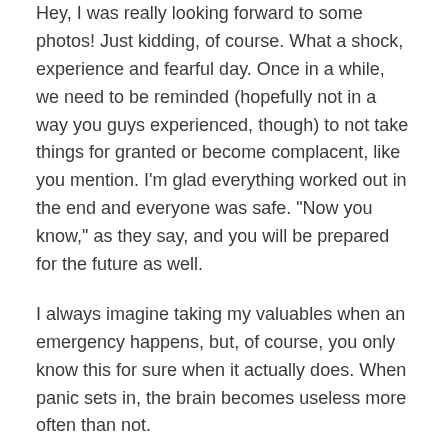Hey, I was really looking forward to some photos! Just kidding, of course. What a shock, experience and fearful day. Once in a while, we need to be reminded (hopefully not in a way you guys experienced, though) to not take things for granted or become complacent, like you mention. I'm glad everything worked out in the end and everyone was safe. "Now you know," as they say, and you will be prepared for the future as well.
I always imagine taking my valuables when an emergency happens, but, of course, you only know this for sure when it actually does. When panic sets in, the brain becomes useless more often than not.
I have felt some smaller earthquakes, once in Belgium and a few times in California. After house and pet sitting in an area prone to wildfires, and being prepped by the owners about what to do, we now ask every home owner whether